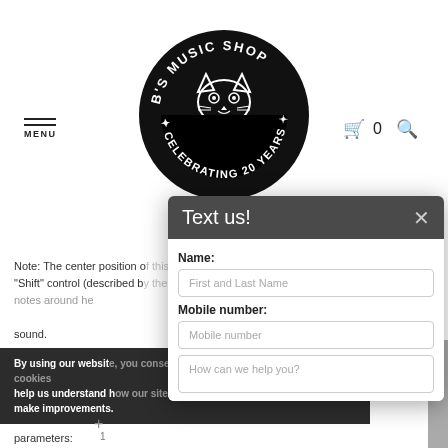[Figure (logo): B's Music Shop circular logo with cat and guitars, EST. 2002, Celebrating 20 Years]
MENU
0
Note: The center position of the control sets the pitch site that will use the "Shift" control (described by) to be positioned at 15 notes around the sound.
(2) "Shift": This control shifts apart it rotated clockwise.
By using our website, help us understand how to make improvements.
parameters:
Text us!
Name:
First and Last Name
Mobile number:
Mobile number
How can we help you?